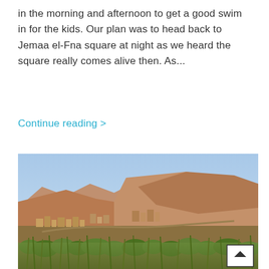in the morning and afternoon to get a good swim in for the kids. Our plan was to head back to Jemaa el-Fna square at night as we heard the square really comes alive then. As...
Continue reading >
[Figure (photo): Landscape photo of an arid Moroccan village nestled in a hillside valley with rocky mountains in the background, sparse green vegetation in the foreground, and a clear blue sky above.]